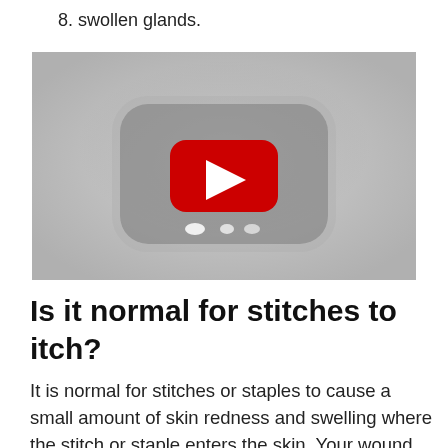8. swollen glands.
[Figure (screenshot): Video thumbnail with YouTube play button (red rounded rectangle with white triangle) on a gray background showing a blurred medical image]
Is it normal for stitches to itch?
It is normal for stitches or staples to cause a small amount of skin redness and swelling where the stitch or staple enters the skin. Your wound may itch or feel irritated. Check